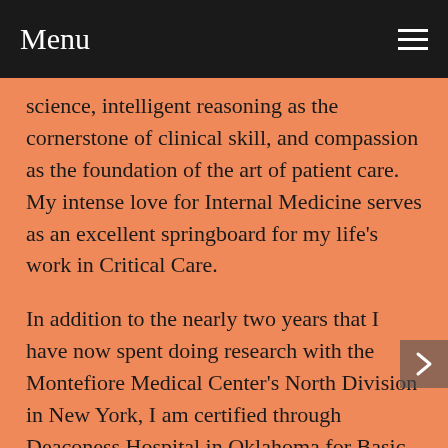Menu
science, intelligent reasoning as the cornerstone of clinical skill, and compassion as the foundation of the art of patient care. My intense love for Internal Medicine serves as an excellent springboard for my life's work in Critical Care.
In addition to the nearly two years that I have now spent doing research with the Montefiore Medical Center's North Division in New York, I am certified through Deaconess Hospital in Oklahoma for Basic as well as Advanced Cardiac Life Support. My professional experience began when I was selected to serve as a Medical Officer in the Department of Internal Medicine of TU Teaching Hospital, greatly enhancing my clinical skills in performing a wide range of patients. I also became involved at that time in research and began publishing articles. Later, I had the privilege to serve as a Research Associate in 2003 and 2004, studying the effects of two consecutive monsoon seasons on rural villagers in Nepal.